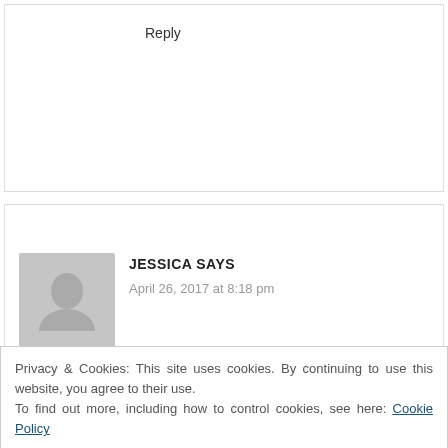Reply
JESSICA SAYS
April 26, 2017 at 8:18 pm
I am definitely like you, I've never been one to follow fashion trends. I agree it is important
Privacy & Cookies: This site uses cookies. By continuing to use this website, you agree to their use.
To find out more, including how to control cookies, see here: Cookie Policy
Close and accept
whatever may be in. It is important to not